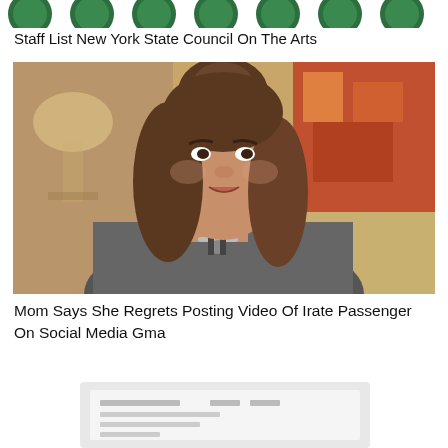[Figure (other): Row of partially visible circular social media / website icons at the top of the page]
Staff List New York State Council On The Arts
[Figure (photo): A young woman with brown hair in a bun, wearing a grey sweater and a heart necklace, speaking in what appears to be an interview setting with a warm-toned background.]
Mom Says She Regrets Posting Video Of Irate Passenger On Social Media Gma
[Figure (photo): Partially visible image at the bottom of the page, appears to show a document or book with text and numbers.]